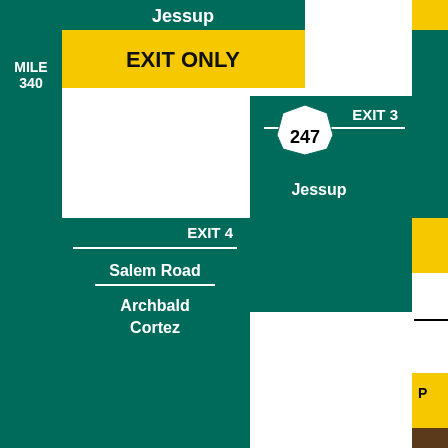[Figure (infographic): Highway exit sign diagram showing Mile 340 with EXIT ONLY (yellow), Exit 3 to Route 247 Jessup (green), and Exit 4 to Salem Road / Archbald / Cortez (green). Partial view of additional exits on right edge.]